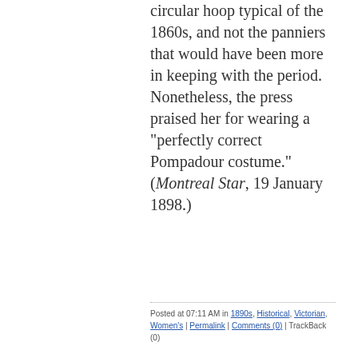circular hoop typical of the 1860s, and not the panniers that would have been more in keeping with the period. Nonetheless, the press praised her for wearing a "perfectly correct Pompadour costume." (Montreal Star, 19 January 1898.)
Posted at 07:11 AM in 1890s, Historical, Victorian, Women's | Permalink | Comments (0) | TrackBack (0)